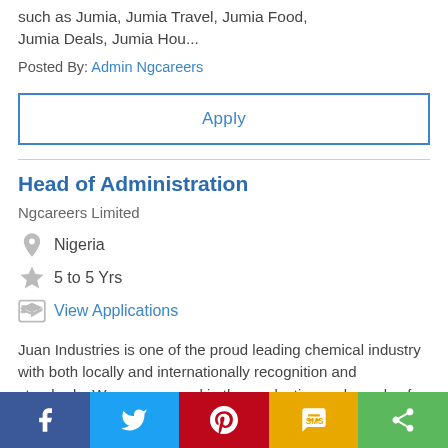such as Jumia, Jumia Travel, Jumia Food, Jumia Deals, Jumia Hou...
Posted By: Admin Ngcareers
Apply
Head of Administration
Ngcareers Limited
Nigeria
5 to 5 Yrs
View Applications
Juan Industries is one of the proud leading chemical industry with both locally and internationally recognition and standards. We are engaged in the production and supply of inorganic and organic...